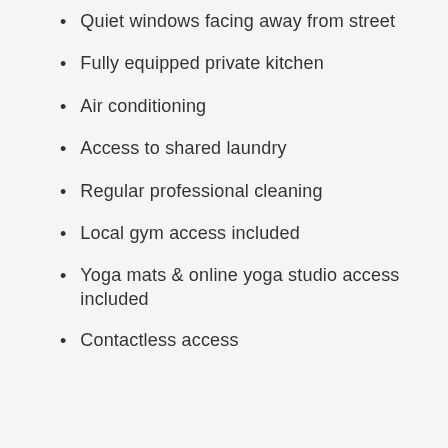Quiet windows facing away from street
Fully equipped private kitchen
Air conditioning
Access to shared laundry
Regular professional cleaning
Local gym access included
Yoga mats & online yoga studio access included
Contactless access